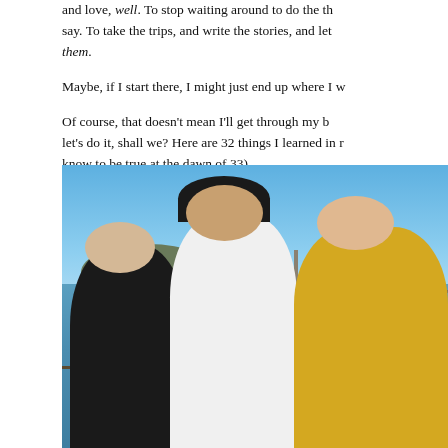and love, well. To stop waiting around to do the things I mean to say. To take the trips, and write the stories, and let them.
Maybe, if I start there, I might just end up where I w
Of course, that doesn't mean I'll get through my b let's do it, shall we? Here are 32 things I learned in n know to be true at the dawn of 33).
[Figure (photo): Three people posing together outdoors near a waterfront railing, with a bay, island, and bridge visible in the background under a clear blue sky. The leftmost person has gray-blonde hair and a black top, the middle person has dark hair, sunglasses, and a white tank top, and the rightmost person has light hair and a yellow/gold outfit.]